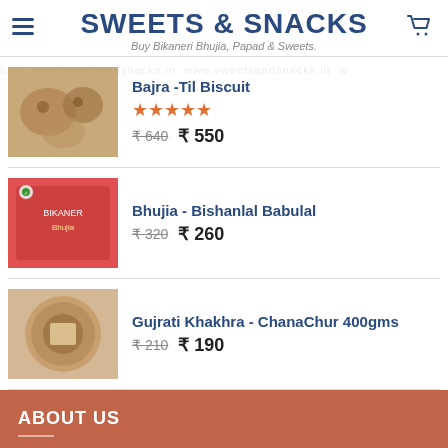SWEETS & SNACKS
Buy Bikaneri Bhujia, Papad & Sweets.
Bajra -Til Biscuit | ₹640 ₹550 | Rating: 5 stars
Bhujia - Bishanlal Babulal | ₹320 ₹260
Gujrati Khakhra - ChanaChur 400gms | ₹210 ₹190
ABOUT US
www.sweetsandsnacks.in is about Indian Sweets a significant